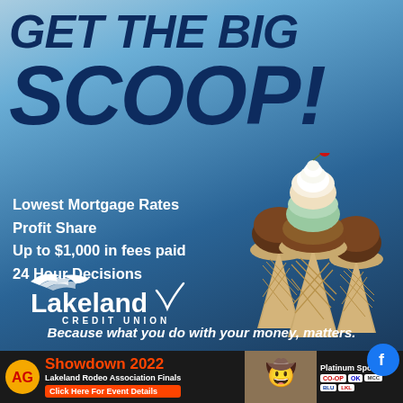GET THE BIG SCOOP!
Lowest Mortgage Rates
Profit Share
Up to $1,000 in fees paid
24 Hour Decisions
[Figure (logo): Lakeland Credit Union logo with swoosh bird graphic]
[Figure (photo): Three ice cream cones with scoops, one has a cherry on top]
Because what you do with your money, matters.
Showdown 2022 Lakeland Rodeo Association Finals Click Here For Event Details
Platinum Sponsors